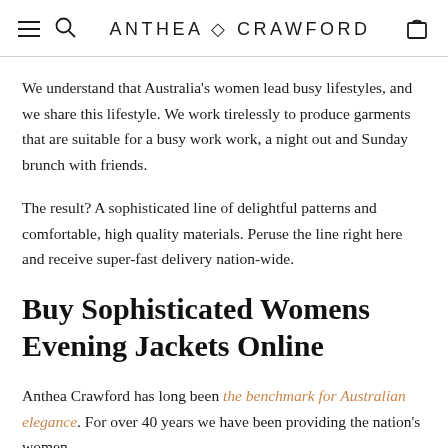ANTHEA ◇ CRAWFORD
We understand that Australia's women lead busy lifestyles, and we share this lifestyle. We work tirelessly to produce garments that are suitable for a busy work work, a night out and Sunday brunch with friends.
The result? A sophisticated line of delightful patterns and comfortable, high quality materials. Peruse the line right here and receive super-fast delivery nation-wide.
Buy Sophisticated Womens Evening Jackets Online
Anthea Crawford has long been the benchmark for Australian elegance. For over 40 years we have been providing the nation's women